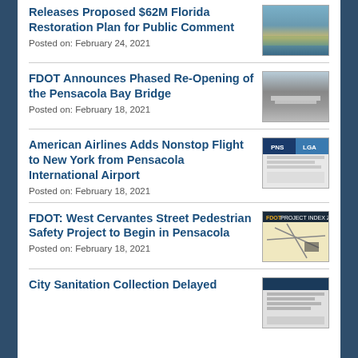Releases Proposed $62M Florida Restoration Plan for Public Comment
Posted on: February 24, 2021
FDOT Announces Phased Re-Opening of the Pensacola Bay Bridge
Posted on: February 18, 2021
American Airlines Adds Nonstop Flight to New York from Pensacola International Airport
Posted on: February 18, 2021
FDOT: West Cervantes Street Pedestrian Safety Project to Begin in Pensacola
Posted on: February 18, 2021
City Sanitation Collection Delayed